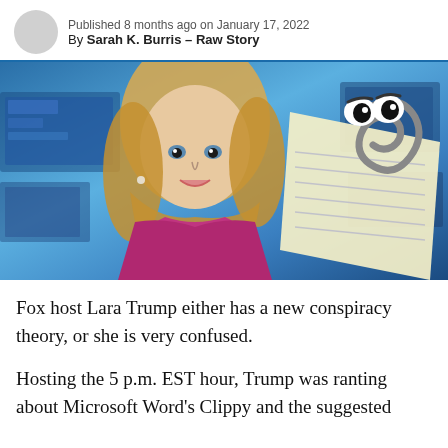Published 8 months ago on January 17, 2022
By Sarah K. Burris – Raw Story
[Figure (photo): A Fox News host (Lara Trump) on a TV studio set with blue lighting, with an overlaid image of Microsoft's Clippy mascot (animated paperclip with eyes on a notepad).]
Fox host Lara Trump either has a new conspiracy theory, or she is very confused.
Hosting the 5 p.m. EST hour, Trump was ranting about Microsoft Word's Clippy and the suggested